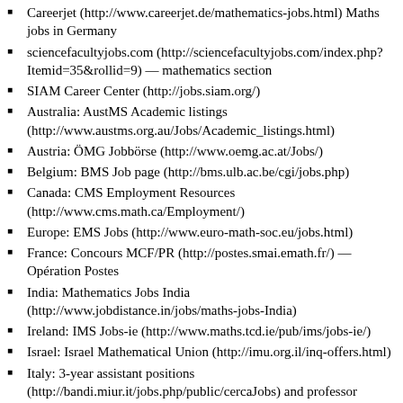Careerjet (http://www.careerjet.de/mathematics-jobs.html) Maths jobs in Germany
sciencefacultyjobs.com (http://sciencefacultyjobs.com/index.php?Itemid=35&rollid=9) — mathematics section
SIAM Career Center (http://jobs.siam.org/)
Australia: AustMS Academic listings (http://www.austms.org.au/Jobs/Academic_listings.html)
Austria: ÖMG Jobbörse (http://www.oemg.ac.at/Jobs/)
Belgium: BMS Job page (http://bms.ulb.ac.be/cgi/jobs.php)
Canada: CMS Employment Resources (http://www.cms.math.ca/Employment/)
Europe: EMS Jobs (http://www.euro-math-soc.eu/jobs.html)
France: Concours MCF/PR (http://postes.smai.emath.fr/) — Opération Postes
India: Mathematics Jobs India (http://www.jobdistance.in/jobs/maths-jobs-India)
Ireland: IMS Jobs-ie (http://www.maths.tcd.ie/pub/ims/jobs-ie/)
Israel: Israel Mathematical Union (http://imu.org.il/inq-offers.html)
Italy: 3-year assistant positions (http://bandi.miur.it/jobs.php/public/cercaJobs) and professor positions (http://bandi.miur.it/profcalls.php/public/cercaJobs) (in Italian)
Japan : JREC-IN (http://jrecin.jst.go.jp/seek/SeekJorSearch?